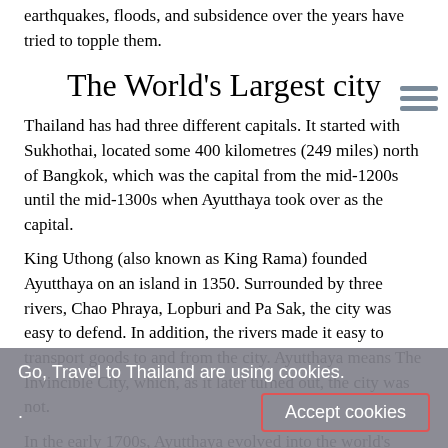earthquakes, floods, and subsidence over the years have tried to topple them.
The World's Largest city
Thailand has had three different capitals. It started with Sukhothai, located some 400 kilometres (249 miles) north of Bangkok, which was the capital from the mid-1200s until the mid-1300s when Ayutthaya took over as the capital.
King Uthong (also known as King Rama) founded Ayutthaya on an island in 1350. Surrounded by three rivers, Chao Phraya, Lopburi and Pa Sak, the city was easy to defend. In addition, the rivers made it easy to transport goods to and from the city. Ayutthaya means The Invincible City, which, as it later turned out, the city was not.
In the early 1700s, Ayutthaya evolved into the world's
Go, Travel to Thailand are using cookies.
Accept cookies